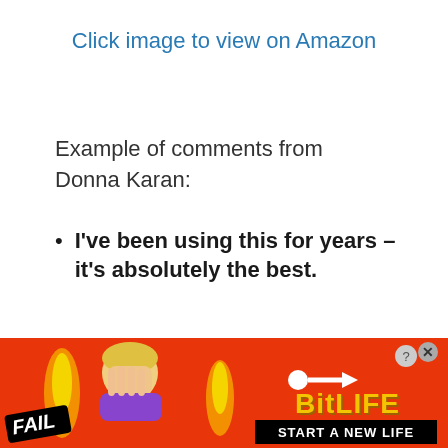Click image to view on Amazon
Example of comments from Donna Karan:
I've been using this for years – it's absolutely the best.
[Figure (illustration): Advertisement banner for BitLife game with red background, 'FAIL' badge, cartoon facepalm figure, flames, sperm graphic, BitLife logo in yellow, and tagline 'START A NEW LIFE' in black box. Close buttons in upper right.]